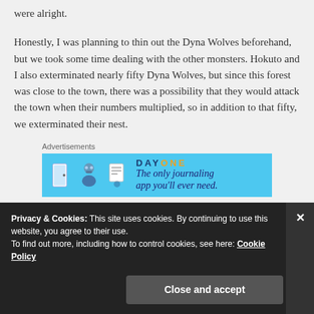were alright.
Honestly, I was planning to thin out the Dyna Wolves beforehand, but we took some time dealing with the other monsters. Hokuto and I also exterminated nearly fifty Dyna Wolves, but since this forest was close to the town, there was a possibility that they would attack the town when their numbers multiplied, so in addition to that fifty, we exterminated their nest.
Advertisements
[Figure (other): Day One journaling app advertisement banner with blue background, icons, and tagline 'The only journaling app you'll ever need.']
Privacy & Cookies: This site uses cookies. By continuing to use this website, you agree to their use.
To find out more, including how to control cookies, see here: Cookie Policy